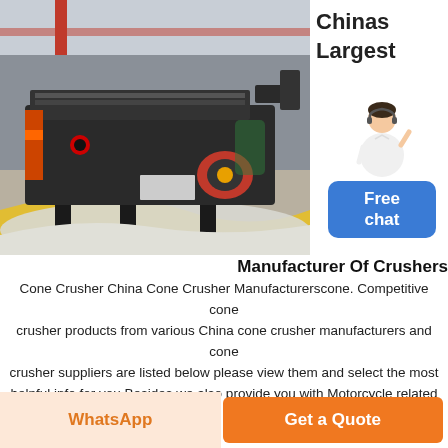[Figure (photo): Industrial cone crusher / vibrating screen machine displayed at an exhibition, surrounded by white crushed stone aggregate. The machine is dark grey/black with orange and red accent parts. Yellow curved floor marking visible. Industrial building interior in background.]
Chinas Largest
[Figure (illustration): Customer service agent figure (woman in white jacket) with headset, raising one hand, beside a blue rounded-rectangle button labeled 'Free chat']
Manufacturer Of Crushers
Cone Crusher China Cone Crusher Manufacturerscone. Competitive cone crusher products from various China cone crusher manufacturers and cone crusher suppliers are listed below please view them and select the most helpful info for you Besides we also provide you with Motorcycle related
WhatsApp
Get a Quote